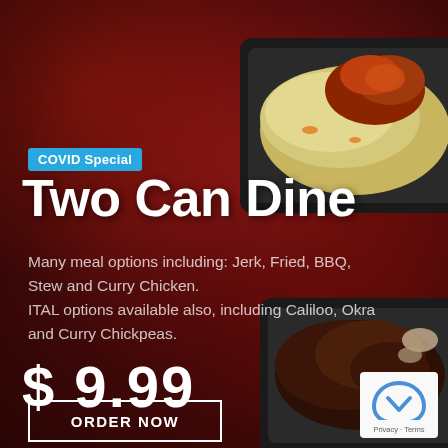[Figure (photo): Dark red textured background with two black food containers. Top container shows rice/coleslaw with jerk chicken. Bottom container shows braised/stewed meat. Orange plus sign between containers. Two beverage cans at bottom right.]
COVID Special
Two Can Dine
Many meal options including: Jerk, Fried, BBQ, Stew and Curry Chicken. ITAL options available also, including Caliloo, Okra and Curry Chickpeas.
$ 9.99
+
ORDER NOW